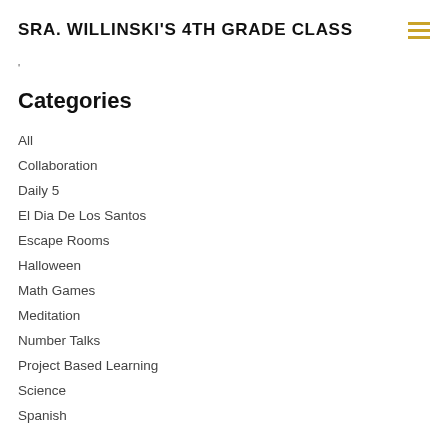SRA. WILLINSKI'S 4TH GRADE CLASS
'
Categories
All
Collaboration
Daily 5
El Dia De Los Santos
Escape Rooms
Halloween
Math Games
Meditation
Number Talks
Project Based Learning
Science
Spanish